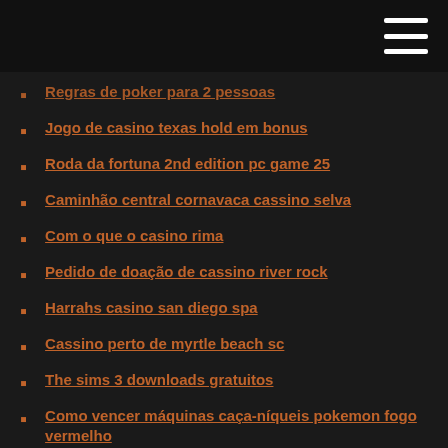Regras de poker para 2 pessoas
Jogo de casino texas hold em bonus
Roda da fortuna 2nd edition pc game 25
Caminhão central cornavaca cassino selva
Com o que o casino rima
Pedido de doação de cassino river rock
Harrahs casino san diego spa
Cassino perto de myrtle beach sc
The sims 3 downloads gratuitos
Como vencer máquinas caça-níqueis pokemon fogo vermelho
Melhores ofertas de cassino online
Sonhar que esta jogando poker
Howfaris wickenburg do casino do diamante do